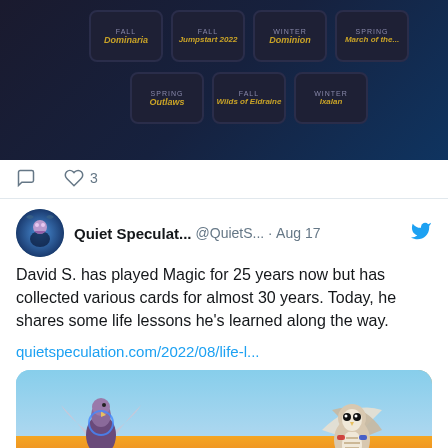[Figure (screenshot): Top portion of a tweet showing a dark themed image with hexagonal season/set buttons labelled Fall, Winter, Spring]
3
[Figure (photo): Twitter avatar for Quiet Speculation showing a fantasy illustrated figure]
Quiet Speculat... @QuietS... · Aug 17
David S. has played Magic for 25 years now but has collected various cards for almost 30 years. Today, he shares some life lessons he's learned along the way.
quietspeculation.com/2022/08/life-l...
[Figure (photo): Fantasy art showing bird-people characters fighting with fire and magic]